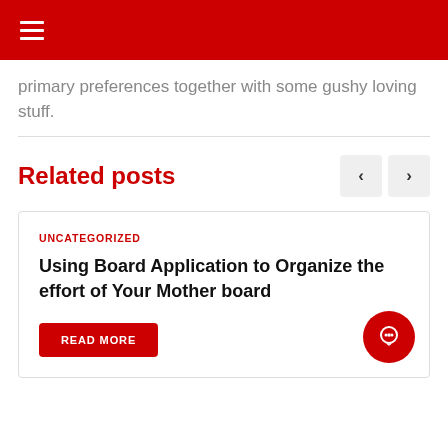≡
primary preferences together with some gushy loving stuff.
Related posts
UNCATEGORIZED
Using Board Application to Organize the effort of Your Mother board
READ MORE